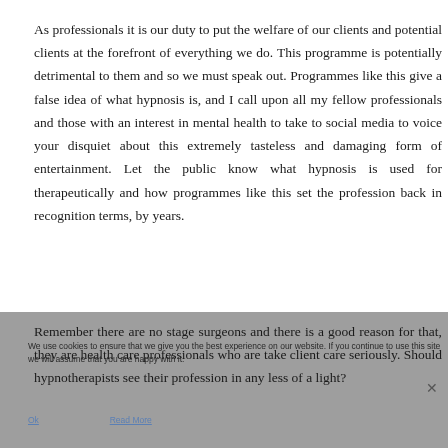As professionals it is our duty to put the welfare of our clients and potential clients at the forefront of everything we do. This programme is potentially detrimental to them and so we must speak out. Programmes like this give a false idea of what hypnosis is, and I call upon all my fellow professionals and those with an interest in mental health to take to social media to voice your disquiet about this extremely tasteless and damaging form of entertainment. Let the public know what hypnosis is used for therapeutically and how programmes like this set the profession back in recognition terms, by years.
Remember there are no stage surgeons and there is a good reason for that, they are health care professionals who are take client care seriously. Should hypnotherapists see their profession in any less of a light?
We use cookies to ensure that we give you the best experience on our website. If you continue to use this site we will assume that you are happy with it.